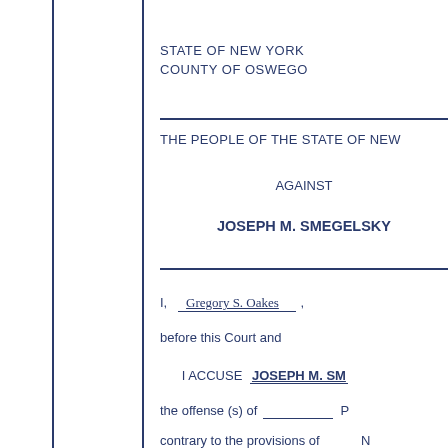STATE OF NEW YORK
COUNTY OF OSWEGO
THE PEOPLE OF THE STATE OF NEW
AGAINST
JOSEPH M. SMEGELSKY
I, Gregory S. Oakes, before this Court and
I ACCUSE JOSEPH M. SM
the offense (s) of
contrary to the provisions of